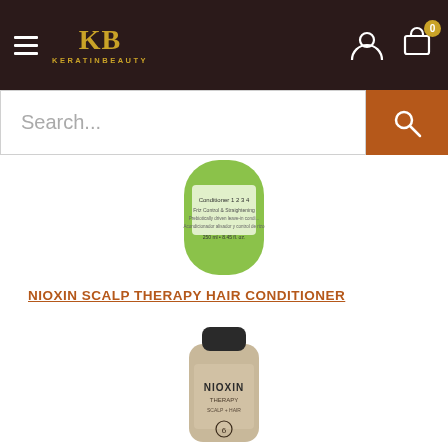KB KERATINBEAUTY
[Figure (screenshot): Search bar with 'Search...' placeholder text and orange search button]
[Figure (photo): Green bottle of hair conditioner product, partially visible]
NIOXIN SCALP THERAPY HAIR CONDITIONER
[Figure (photo): Nioxin hair therapy conditioner bottle in gold/beige color with black cap, labeled 'NIOXIN THERAPY' with number 6]